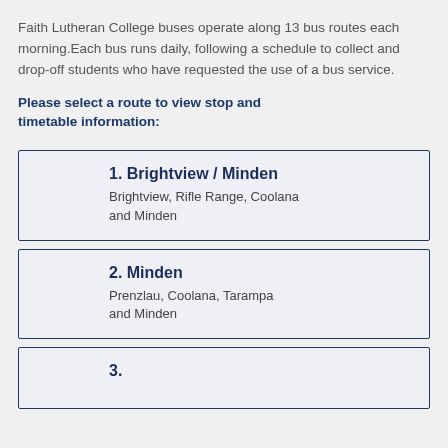Faith Lutheran College buses operate along 13 bus routes each morning.Each bus runs daily, following a schedule to collect and drop-off students who have requested the use of a bus service.
Please select a route to view stop and timetable information:
1. Brightview / Minden
Brightview, Rifle Range, Coolana and Minden
2. Minden
Prenzlau, Coolana, Tarampa and Minden
3. ...